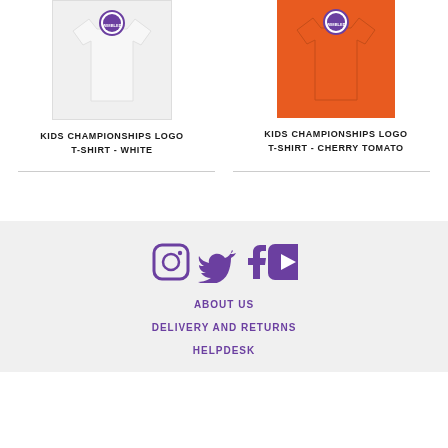[Figure (photo): Kids Championships Logo T-Shirt in white, with circular Wimbledon badge at top]
KIDS CHAMPIONSHIPS LOGO T-SHIRT - WHITE
[Figure (photo): Kids Championships Logo T-Shirt in cherry tomato orange, with circular Wimbledon badge at top]
KIDS CHAMPIONSHIPS LOGO T-SHIRT - CHERRY TOMATO
[Figure (infographic): Social media icons: Instagram, Twitter, Facebook, YouTube in purple]
ABOUT US
DELIVERY AND RETURNS
HELPDESK